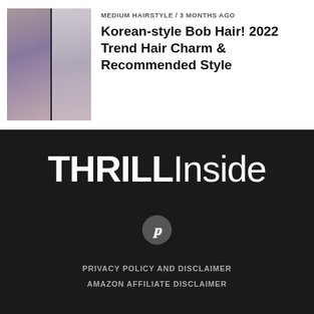[Figure (photo): Two-panel photo collage of a woman with Korean-style bob/medium hairstyle]
MEDIUM HAIRSTYLE / 3 months ago
Korean-style Bob Hair! 2022 Trend Hair Charm & Recommended Style
[Figure (logo): ThrillInside website logo in large bold white text on dark background]
[Figure (other): Pinterest icon button - circular dark grey button with white P]
PRIVACY POLICY AND DISCLAIMER
AMAZON AFFILIATE DISCLAIMER
© Copyright 2019 Thrillinside.com - All Rights Reserved